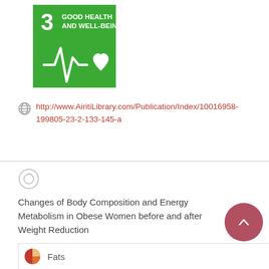[Figure (logo): UN SDG Goal 3 - Good Health and Well-Being logo: green square with white text '3 GOOD HEALTH AND WELL-BEING' and a heartbeat/heart icon]
http://www.AiritiLibrary.com/Publication/Index/10016958-199805-23-2-133-145-a
Changes of Body Composition and Energy Metabolism in Obese Women before and after Weight Reduction
Fats